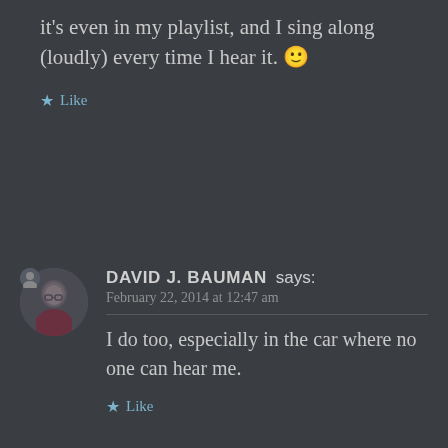it's even in my playlist, and I sing along (loudly) every time I hear it. 🙂
★ Like
DAVID J. BAUMAN says: February 22, 2014 at 12:47 am
I do too, especially in the car where no one can hear me.
★ Like